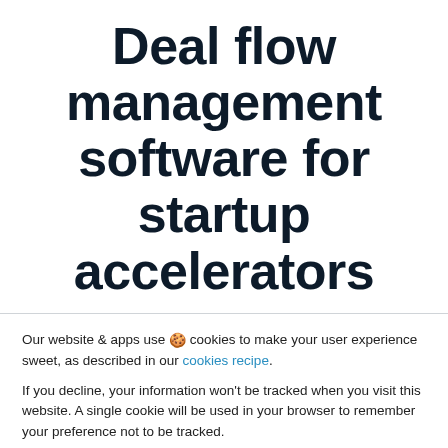Deal flow management software for startup accelerators
Our website & apps use 🍪 cookies to make your user experience sweet, as described in our cookies recipe.
If you decline, your information won't be tracked when you visit this website. A single cookie will be used in your browser to remember your preference not to be tracked.
I love cookies | Cookies are bad